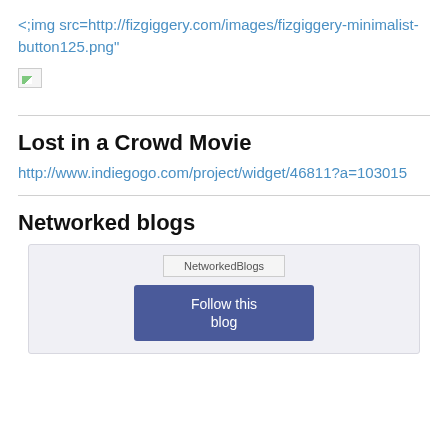<;img src=http://fizgiggery.com/images/fizgiggery-minimalist-button125.png"
[Figure (other): Broken image placeholder icon]
Lost in a Crowd Movie
http://www.indiegogo.com/project/widget/46811?a=103015
Networked blogs
[Figure (other): Networked blogs widget with broken image placeholder labeled NetworkedBlogs and a Follow this blog button]